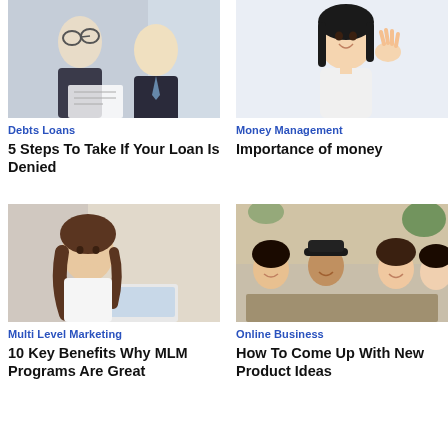[Figure (photo): Two businessmen in suits looking at a document together, smiling]
Debts Loans
5 Steps To Take If Your Loan Is Denied
[Figure (photo): Smiling young Asian woman in white top waving her hand]
Money Management
Importance of money
[Figure (photo): Young Asian woman with long hair sitting at a laptop, thoughtful expression]
Multi Level Marketing
10 Key Benefits Why MLM Programs Are Great
[Figure (photo): Group of young diverse people sitting around a table in a cafe, smiling and looking at something together]
Online Business
How To Come Up With New Product Ideas